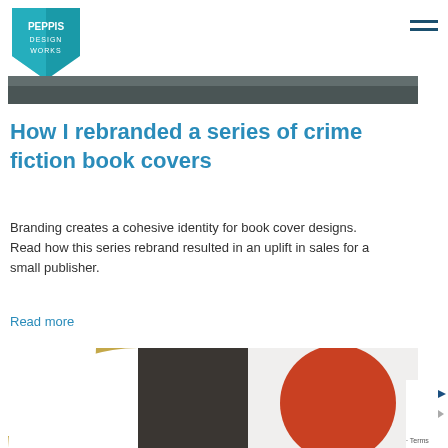[Figure (logo): Peppis Design Works logo: a teal/blue inverted triangle shape with text PEPPIS DESIGN WORKS]
[Figure (photo): Narrow dark photographic hero image strip, appears to show trees or forest in dark tones]
How I rebranded a series of crime fiction book covers
Branding creates a cohesive identity for book cover designs. Read how this series rebrand resulted in an uplift in sales for a small publisher.
Read more
[Figure (photo): Bottom partial image showing three panels: left panel with gold/olive quarter-circle shape on white background, middle dark charcoal panel, right panel with large orange-red circle on white background. Partially cropped.]